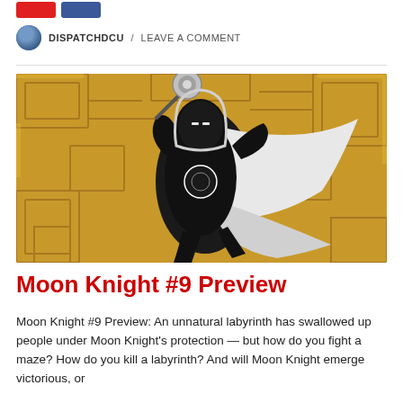[Figure (other): Two social sharing buttons — red and blue — at the top of the page]
DISPATCHDCU / LEAVE A COMMENT
[Figure (illustration): Comic book illustration of Moon Knight in a black and white costume, holding a silver orb/ankh staff, leaping against a golden labyrinth background]
Moon Knight #9 Preview
Moon Knight #9 Preview: An unnatural labyrinth has swallowed up people under Moon Knight's protection — but how do you fight a maze? How do you kill a labyrinth? And will Moon Knight emerge victorious, or